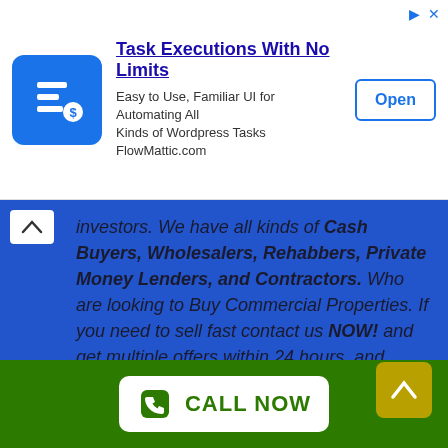[Figure (screenshot): Advertisement banner for 'Task Executions With No Limits' - FlowMattic.com, showing app icon (blue square with white document/list icon), title text, subtitle, and an 'Open' button. Top-right shows ad disclosure icons.]
investors. We have all kinds of Cash Buyers, Wholesalers, Rehabbers, Private Money Lenders, and Contractors. Who are looking to Buy Commercial Properties. If you need to sell fast contact us NOW! and get multiple offers within 24 hours, and close within a week. connect with creative investors who's ready to add value to properties and make you money. Property owners who are tired of losing their home equity to high realtors commissions. Connect with us and cut out the expensive middle man. WE BUY RETAIL REAL ESTATE FAST!!!
[Figure (screenshot): Green footer bar with white 'CALL NOW' button (phone icon) and a dark yellow/olive scroll-to-top arrow button on the right.]